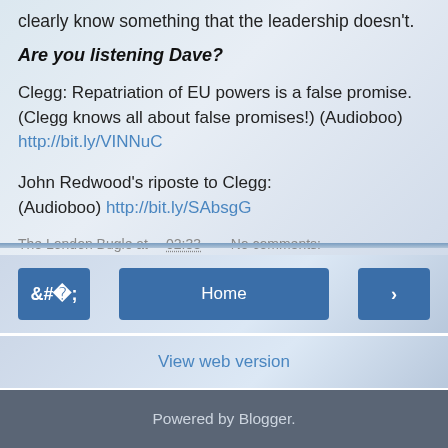...clearly know something that the leadership doesn't.
Are you listening Dave?
Clegg: Repatriation of EU powers is a false promise. (Clegg knows all about false promises!) (Audioboo) http://bit.ly/VINNuC
John Redwood's riposte to Clegg: (Audioboo) http://bit.ly/SAbsgG
The London Bugle at 02:33   No comments:
Share
Home
View web version
Powered by Blogger.